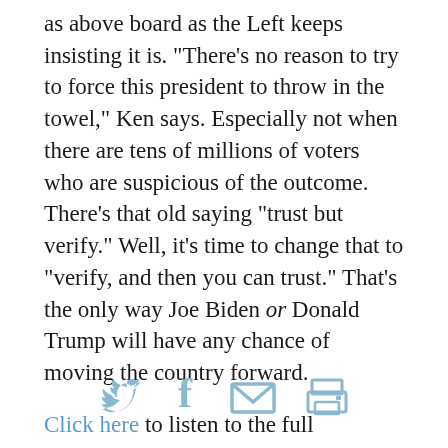as above board as the Left keeps insisting it is. "There's no reason to try to force this president to throw in the towel," Ken says. Especially not when there are tens of millions of voters who are suspicious of the outcome. There's that old saying "trust but verify." Well, it's time to change that to "verify, and then you can trust." That's the only way Joe Biden or Donald Trump will have any chance of moving the country forward.
Click here to listen to the full broadcast of Monday's Washington Watch.
[Figure (infographic): Social sharing icons: Twitter bird, Facebook f, envelope/email, and printer icons, rendered in light blue color]